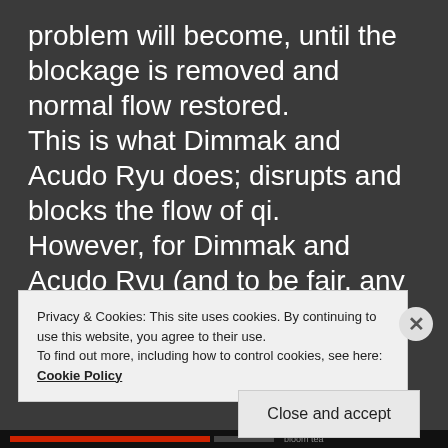problem will become, until the blockage is removed and normal flow restored.
This is what Dimmak and Acudo Ryu does; disrupts and blocks the flow of qi.
However, for Dimmak and Acudo Ryu (and to be fair, any combat art
Privacy & Cookies: This site uses cookies. By continuing to use this website, you agree to their use.
To find out more, including how to control cookies, see here: Cookie Policy
Close and accept